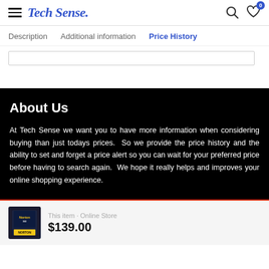Tech Sense.
Description  Additional information  Price History
About Us
At Tech Sense we want you to have more information when considering buying than just todays prices.  So we provide the price history and the ability to set and forget a price alert so you can wait for your preferred price before having to search again.  We hope it really helps and improves your online shopping experience.
$139.00